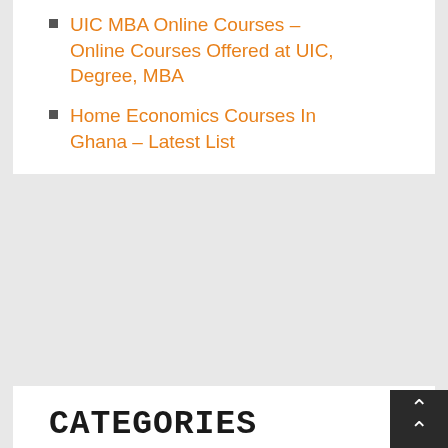UIC MBA Online Courses – Online Courses Offered at UIC, Degree, MBA
Home Economics Courses In Ghana – Latest List
CATEGORIES
Certificate Courses
Courses Offered At University
Degree Courses
Diploma Courses